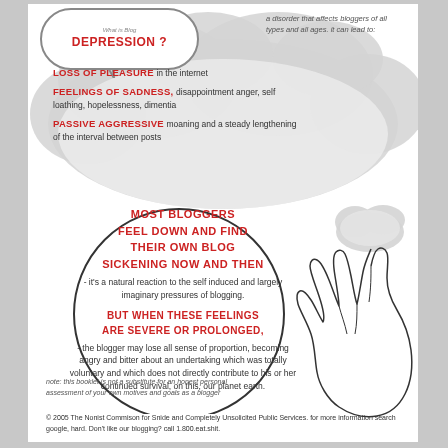What is Blog DEPRESSION?
a disorder that affects bloggers of all types and all ages. it can lead to:
LOSS OF PLEASURE in the internet
FEELINGS OF SADNESS, disappointment anger, self loathing, hopelessness, dimentia
PASSIVE AGGRESSIVE moaning and a steady lengthening of the interval between posts
MOST BLOGGERS FEEL DOWN AND FIND THEIR OWN BLOG SICKENING NOW AND THEN - it's a natural reaction to the self induced and largely imaginary pressures of blogging.
BUT WHEN THESE FEELINGS ARE SEVERE OR PROLONGED, - the blogger may lose all sense of proportion, becoming angry and bitter about an undertaking which was totally voluntary and which does not directly contribute to his or her continued survival, on this, our planet earth.
note: this booklet is not a substitute for an honest personal assessment of your own motives and goals as a blogger
© 2005 The Nonist Commison for Snide and Completely Unsolicited Public Services. for more information search google, hard. Don't like our blogging? call 1.800.eat.shit.